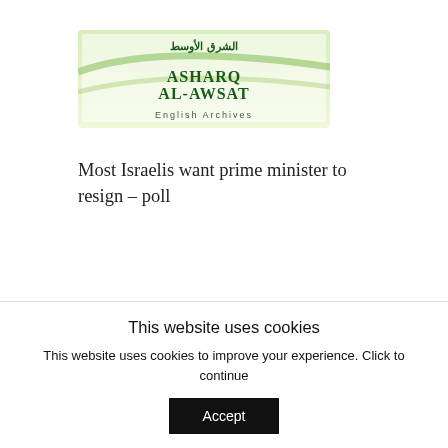[Figure (logo): Asharq Al-Awsat English Archives newspaper logo with Arabic text and green swoosh design]
Most Israelis want prime minister to resign – poll
August 25, 2006
In "Middle East"
Search
This website uses cookies
This website uses cookies to improve your experience. Click to continue
Accept